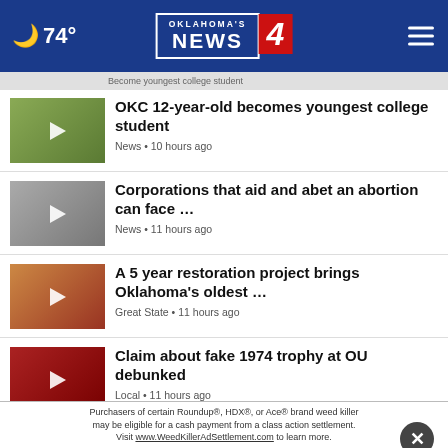74° Oklahoma's News 4
OKC 12-year-old becomes youngest college student • News • 10 hours ago
Corporations that aid and abet an abortion can face ... • News • 11 hours ago
A 5 year restoration project brings Oklahoma's oldest ... • Great State • 11 hours ago
Claim about fake 1974 trophy at OU debunked • Local • 11 hours ago
'Ferris Bueller's Day Off' spin-off reportedly in ... • News • 9 hours ago
make a difference ...
Purchasers of certain Roundup®, HDX®, or Ace® brand weed killer may be eligible for a cash payment from a class action settlement. Visit www.WeedKillerAdSettlement.com to learn more.